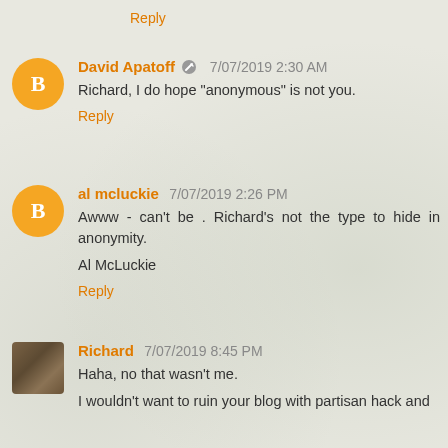Reply
David Apatoff 7/07/2019 2:30 AM
Richard, I do hope "anonymous" is not you.
Reply
al mcluckie 7/07/2019 2:26 PM
Awww - can't be . Richard's not the type to hide in anonymity.
Al McLuckie
Reply
Richard 7/07/2019 8:45 PM
Haha, no that wasn't me.
I wouldn't want to ruin your blog with partisan hack and